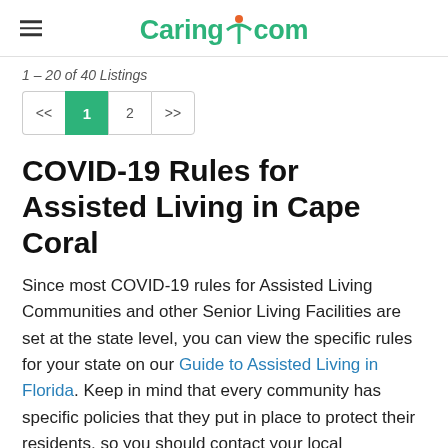Caring.com
1 – 20 of 40 Listings
<< 1 2 >>
COVID-19 Rules for Assisted Living in Cape Coral
Since most COVID-19 rules for Assisted Living Communities and other Senior Living Facilities are set at the state level, you can view the specific rules for your state on our Guide to Assisted Living in Florida. Keep in mind that every community has specific policies that they put in place to protect their residents, so you should contact your local community for more information. Additionally, you can contact your local Area Agency on Aging to